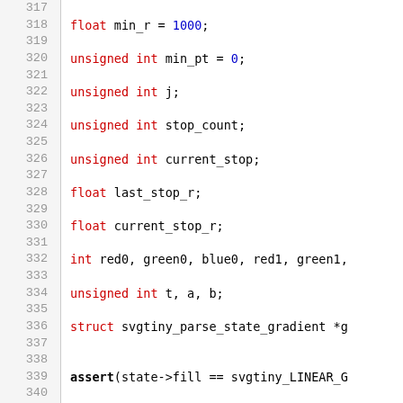[Figure (screenshot): Source code listing in C with syntax highlighting, showing lines 317-346. Line numbers in grey on the left, keywords in red, numeric literals in blue, function names in blue, string literals in red, comments in grey italic, preprocessor directives in black.]